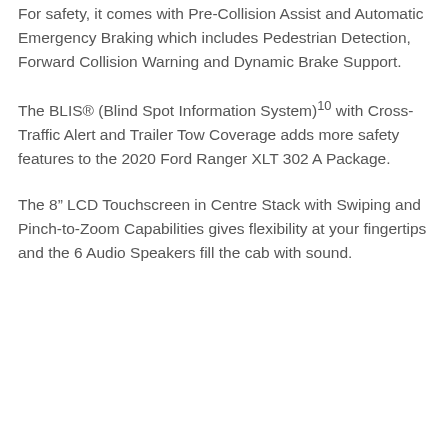For safety, it comes with Pre-Collision Assist and Automatic Emergency Braking which includes Pedestrian Detection, Forward Collision Warning and Dynamic Brake Support.
The BLIS® (Blind Spot Information System)10 with Cross-Traffic Alert and Trailer Tow Coverage adds more safety features to the 2020 Ford Ranger XLT 302 A Package.
The 8" LCD Touchscreen in Centre Stack with Swiping and Pinch-to-Zoom Capabilities gives flexibility at your fingertips and the 6 Audio Speakers fill the cab with sound.